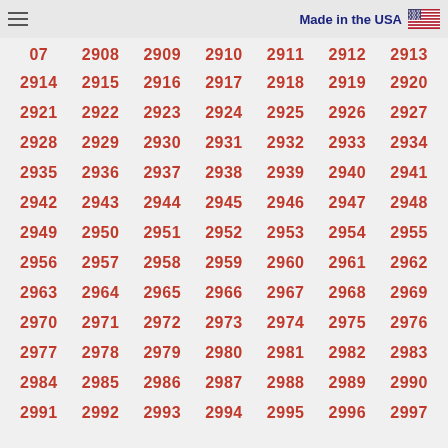Made in the USA
| 07 | 2908 | 2909 | 2910 | 2911 | 2912 | 2913 |
| 2914 | 2915 | 2916 | 2917 | 2918 | 2919 | 2920 |
| 2921 | 2922 | 2923 | 2924 | 2925 | 2926 | 2927 |
| 2928 | 2929 | 2930 | 2931 | 2932 | 2933 | 2934 |
| 2935 | 2936 | 2937 | 2938 | 2939 | 2940 | 2941 |
| 2942 | 2943 | 2944 | 2945 | 2946 | 2947 | 2948 |
| 2949 | 2950 | 2951 | 2952 | 2953 | 2954 | 2955 |
| 2956 | 2957 | 2958 | 2959 | 2960 | 2961 | 2962 |
| 2963 | 2964 | 2965 | 2966 | 2967 | 2968 | 2969 |
| 2970 | 2971 | 2972 | 2973 | 2974 | 2975 | 2976 |
| 2977 | 2978 | 2979 | 2980 | 2981 | 2982 | 2983 |
| 2984 | 2985 | 2986 | 2987 | 2988 | 2989 | 2990 |
| 2991 | 2992 | 2993 | 2994 | 2995 | 2996 | 2997 |